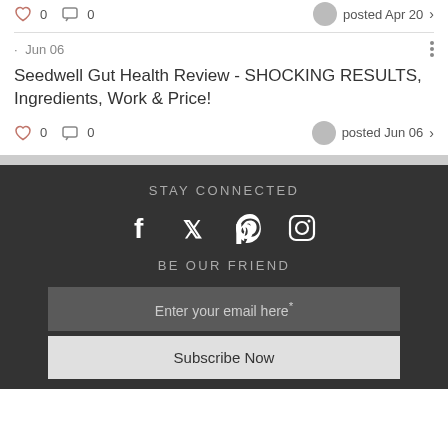[Figure (screenshot): Interaction row with heart icon (0 likes), comment icon (0 comments), avatar, posted Apr 20 with chevron]
· Jun 06
Seedwell Gut Health Review - SHOCKING RESULTS, Ingredients, Work & Price!
[Figure (screenshot): Interaction row with heart icon (0 likes), comment icon (0 comments), avatar, posted Jun 06 with chevron]
STAY CONNECTED
[Figure (infographic): Social media icons: Facebook, Twitter, Pinterest, Instagram in white on dark background]
BE OUR FRIEND
Enter your email here*
Subscribe Now